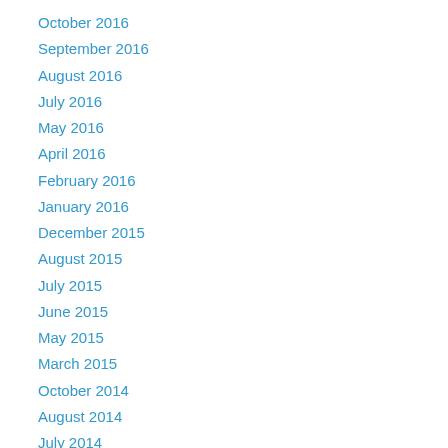October 2016
September 2016
August 2016
July 2016
May 2016
April 2016
February 2016
January 2016
December 2015
August 2015
July 2015
June 2015
May 2015
March 2015
October 2014
August 2014
July 2014
June 2014
May 2014
January 2014